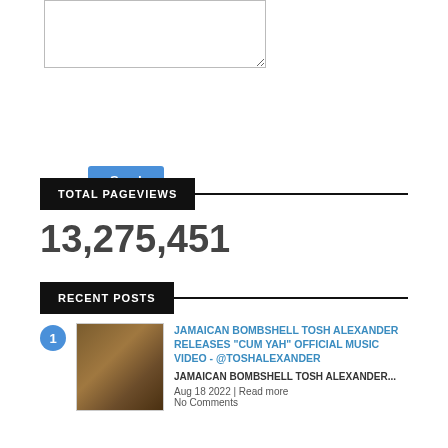[Figure (screenshot): Text area input box (empty)]
Send
TOTAL PAGEVIEWS
13,275,451
RECENT POSTS
JAMAICAN BOMBSHELL TOSH ALEXANDER RELEASES "CUM YAH" OFFICIAL MUSIC VIDEO - @TOSHALEXANDER
JAMAICAN BOMBSHELL TOSH ALEXANDER...
Aug 18 2022 | Read more
No Comments